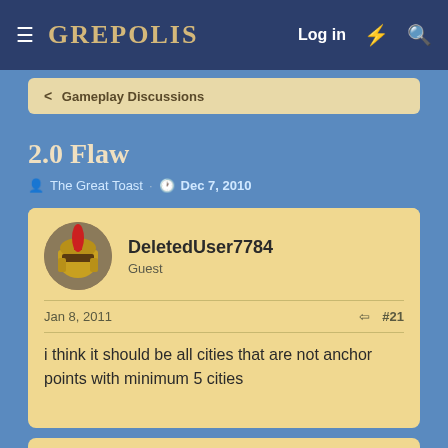GREPOLIS — Log in
< Gameplay Discussions
2.0 Flaw
The Great Toast · Dec 7, 2010
DeletedUser7784
Guest
Jan 8, 2011   #21
i think it should be all cities that are not anchor points with minimum 5 cities
Skullyhoofd
Guest